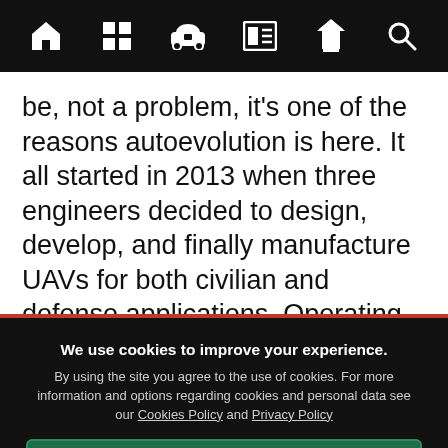[Navigation bar with icons: home, grid, car, newspaper, filter, search]
be, not a problem, it’s one of the reasons autoevolution is here. It all started in 2013 when three engineers decided to design, develop, and finally manufacture UAVs for both civilian and defense applications. Operating out of Reunion Island, France, this crew creates fixed-wing
We use cookies to improve your experience. By using the site you agree to the use of cookies. For more information and options regarding cookies and personal data see our Cookies Policy and Privacy Policy
Accept cookies & close
California residents: Do Not Sell My Info